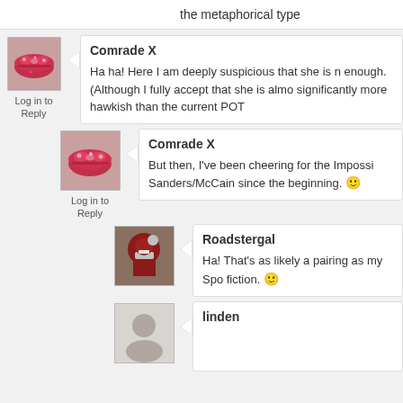the metaphorical type
Comrade X
Ha ha! Here I am deeply suspicious that she is not hawkish enough. (Although I fully accept that she is almost certainly significantly more hawkish than the current POT
Log in to Reply
Comrade X
But then, I've been cheering for the Impossible Sanders/McCain since the beginning. 🙂
Log in to Reply
Roadstergal
Ha! That's as likely a pairing as my Spo fiction. 🙂
linden